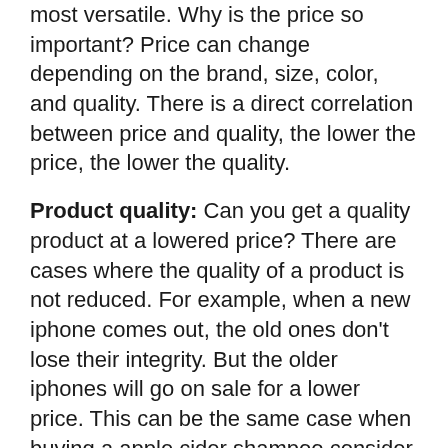most versatile. Why is the price so important? Price can change depending on the brand, size, color, and quality. There is a direct correlation between price and quality, the lower the price, the lower the quality.
Product quality: Can you get a quality product at a lowered price? There are cases where the quality of a product is not reduced. For example, when a new iphone comes out, the old ones don't lose their integrity. But the older iphones will go on sale for a lower price. This can be the same case when buying a apple cider shampoo consider quality materials before making your purchase but don't be detoured by sales.